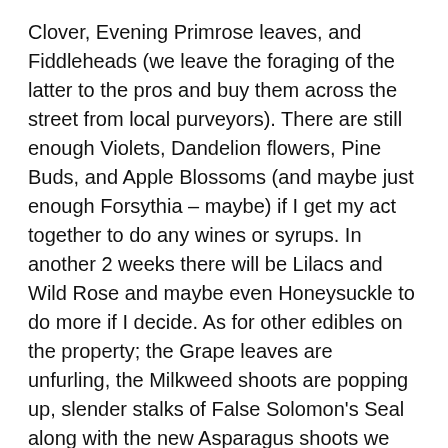Clover, Evening Primrose leaves, and Fiddleheads (we leave the foraging of the latter to the pros and buy them across the street from local purveyors). There are still enough Violets, Dandelion flowers, Pine Buds, and Apple Blossoms (and maybe just enough Forsythia – maybe) if I get my act together to do any wines or syrups. In another 2 weeks there will be Lilacs and Wild Rose and maybe even Honeysuckle to do more if I decide. As for other edibles on the property; the Grape leaves are unfurling, the Milkweed shoots are popping up, slender stalks of False Solomon's Seal along with the new Asparagus shoots we planted from seed, and a great find of Yellow Morels in the Orchard. So many goodies everywhere!
Over this last weekend I signed Duende and I up for a Zoom cooking class sponsored by Cabot Cheese to